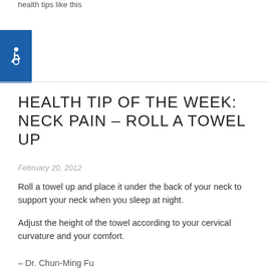health tips like this
[Figure (logo): Blue square with white wheelchair accessibility icon]
HEALTH TIP OF THE WEEK: NECK PAIN – ROLL A TOWEL UP
February 20, 2012
Roll a towel up and place it under the back of your neck to support your neck when you sleep at night.
Adjust the height of the towel according to your cervical curvature and your comfort.
– Dr. Chun-Ming Fu